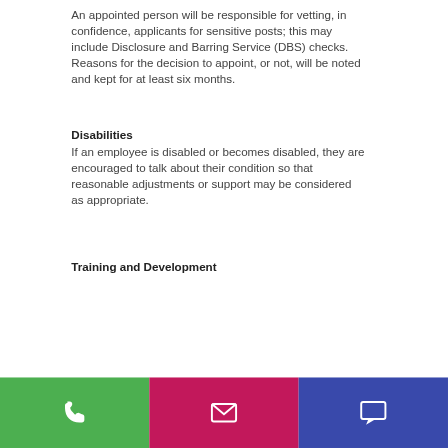An appointed person will be responsible for vetting, in confidence, applicants for sensitive posts; this may include Disclosure and Barring Service (DBS) checks. Reasons for the decision to appoint, or not, will be noted and kept for at least six months.
Disabilities
If an employee is disabled or becomes disabled, they are encouraged to talk about their condition so that reasonable adjustments or support may be considered as appropriate.
Training and Development